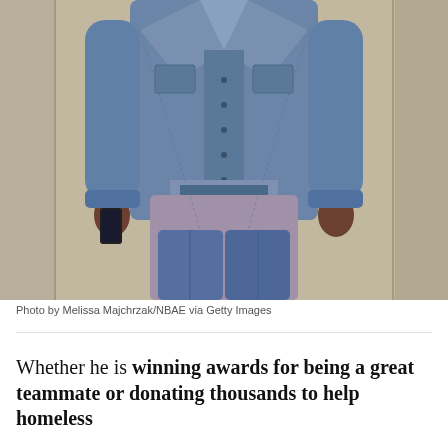[Figure (photo): A person walking, wearing a denim jacket over a graphic t-shirt and jeans, holding a phone in one hand. Shot from torso down, against a neutral wall background.]
Photo by Melissa Majchrzak/NBAE via Getty Images
Whether he is winning awards for being a great teammate or donating thousands to help homeless